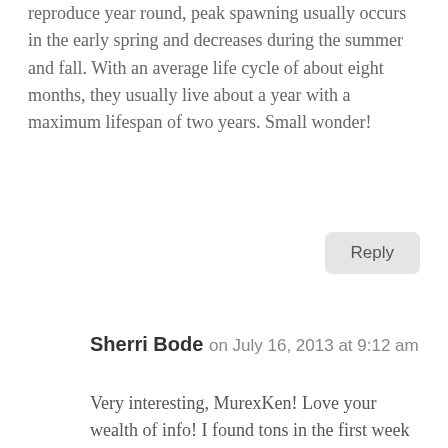reproduce year round, peak spawning usually occurs in the early spring and decreases during the summer and fall. With an average life cycle of about eight months, they usually live about a year with a maximum lifespan of two years. Small wonder!
Reply
Sherri Bode on July 16, 2013 at 9:12 am
Very interesting, MurexKen! Love your wealth of info! I found tons in the first week of April and they are so pretty, kind of like old-fashioned candies! Sherri